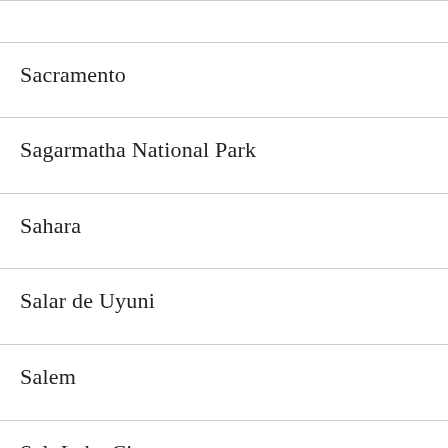|  |
| Sacramento |
| Sagarmatha National Park |
| Sahara |
| Salar de Uyuni |
| Salem |
| Salt Lake City |